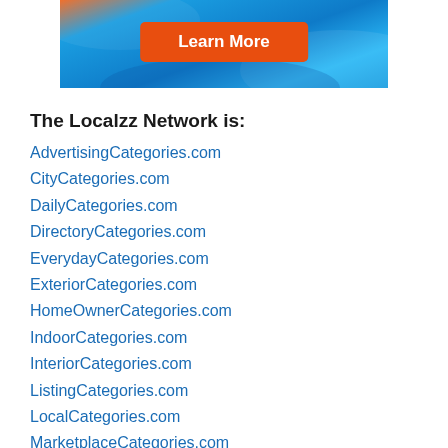[Figure (other): Banner advertisement with blue gradient background and orange 'Learn More' button]
The Localzz Network is:
AdvertisingCategories.com
CityCategories.com
DailyCategories.com
DirectoryCategories.com
EverydayCategories.com
ExteriorCategories.com
HomeOwnerCategories.com
IndoorCategories.com
InteriorCategories.com
ListingCategories.com
LocalCategories.com
MarketplaceCategories.com
NationalCategories.com
OutdoorCatgories.com
ProjectCategories.com